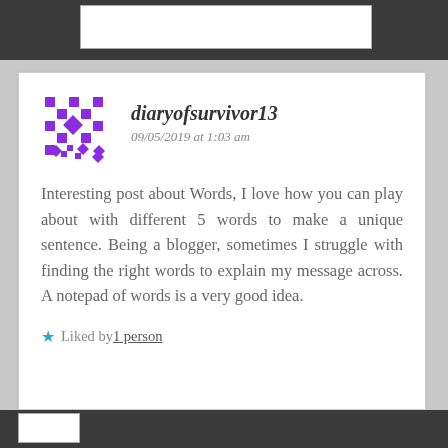[Figure (screenshot): Blog comment card with avatar, username diaryofsurvivor13, date, comment text, and liked by section]
diaryofsurvivor13
09/05/2019 at 1:03 am
Interesting post about Words, I love how you can play about with different 5 words to make a unique sentence. Being a blogger, sometimes I struggle with finding the right words to explain my message across. A notepad of words is a very good idea.
Liked by 1 person